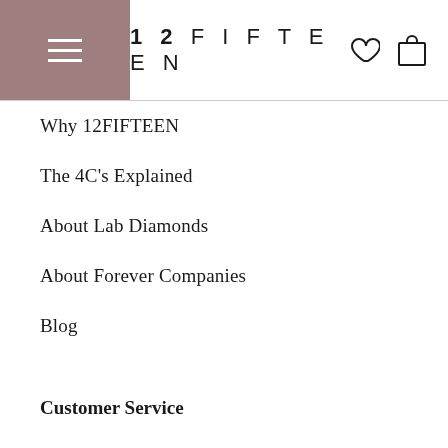12FIFTEEN
Why 12FIFTEEN
The 4C's Explained
About Lab Diamonds
About Forever Companies
Blog
Customer Service
Account
Returns & Exchanges
Repairs
Shipping info